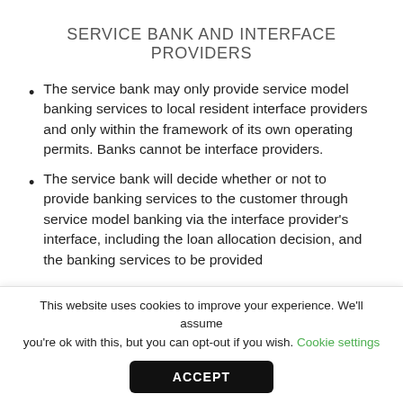SERVICE BANK AND INTERFACE PROVIDERS
The service bank may only provide service model banking services to local resident interface providers and only within the framework of its own operating permits. Banks cannot be interface providers.
The service bank will decide whether or not to provide banking services to the customer through service model banking via the interface provider's interface, including the loan allocation decision, and the banking services to be provided
This website uses cookies to improve your experience. We'll assume you're ok with this, but you can opt-out if you wish. Cookie settings
ACCEPT